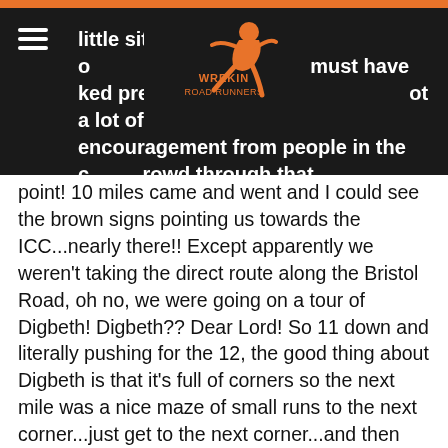little sit down might be our option! I must have looked pretty shocking to… got a lot of encouragement from people in the crowd through that
[Figure (logo): Wrekin Road Runners logo — orange runner silhouette on dark background with text WREKIN ROAD RUNNERS]
point! 10 miles came and went and I could see the brown signs pointing us towards the ICC...nearly there!! Except apparently we weren't taking the direct route along the Bristol Road, oh no, we were going on a tour of Digbeth! Digbeth?? Dear Lord! So 11 down and literally pushing for the 12, the good thing about Digbeth is that it's full of corners so the next mile was a nice maze of small runs to the next corner...just get to the next corner...and then the next corner...and one more...at 12 miles I told myself that by the time I'd given myself a talking to about 1 more mile it would be less than a mile! I actually enjoyed the last mile, I picked up my pace just a touch and tried announcing very excitedly to the woman looking very strained beside me that I could see the top of the Bull Ring!! She didn't care! Signs for Moor Street appeared and we went sweeping round the Selfridges building...I think that time we needed to be going in